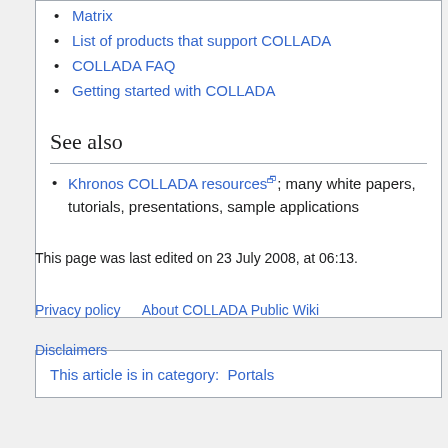Matrix
List of products that support COLLADA
COLLADA FAQ
Getting started with COLLADA
See also
Khronos COLLADA resources; many white papers, tutorials, presentations, sample applications
This article is in category:  Portals
This page was last edited on 23 July 2008, at 06:13.
Privacy policy    About COLLADA Public Wiki
Disclaimers